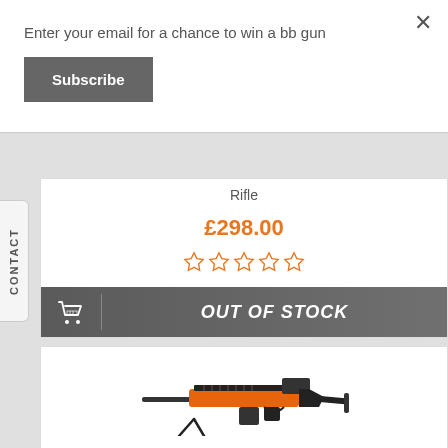Enter your email for a chance to win a bb gun
Subscribe
×
Rifle
£298.00
OUT OF STOCK
[Figure (photo): Orange and black BB/airsoft rifle with bipod stand]
CONTACT